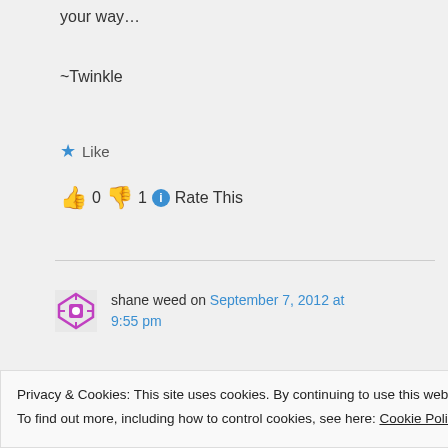your way…
~Twinkle
★ Like
👍 0 👎 1 ℹ Rate This
shane weed on September 7, 2012 at 9:55 pm
I hear every word your saying i am
Privacy & Cookies: This site uses cookies. By continuing to use this website, you agree to their use.
To find out more, including how to control cookies, see here: Cookie Policy
Close and accept